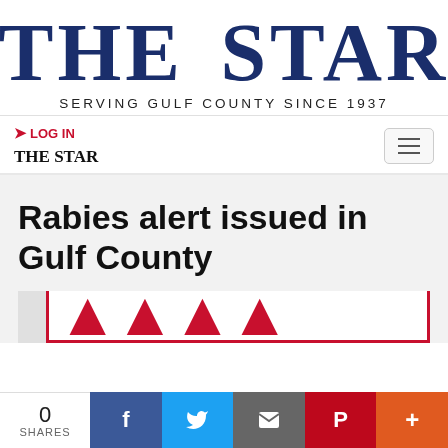[Figure (logo): The Star newspaper logo with sand dollar image and tagline SERVING GULF COUNTY SINCE 1937]
LOG IN   THE STAR
Rabies alert issued in Gulf County
[Figure (screenshot): Partial view of a red-bordered image with large red text, partially cropped at bottom]
0 SHARES  f  t  email  p  +